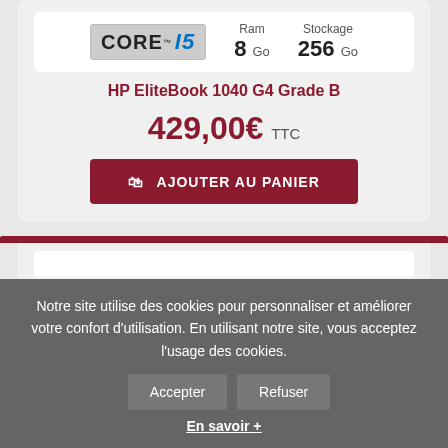[Figure (logo): Intel Core i5 logo badge]
Ram 8 Go
Stockage 256 Go
HP EliteBook 1040 G4 Grade B
429,00€ TTC
AJOUTER AU PANIER
Notre site utilise des cookies pour personnaliser et améliorer votre confort d'utilisation. En utilisant notre site, vous acceptez l'usage des cookies.
Accepter
Refuser
En savoir +